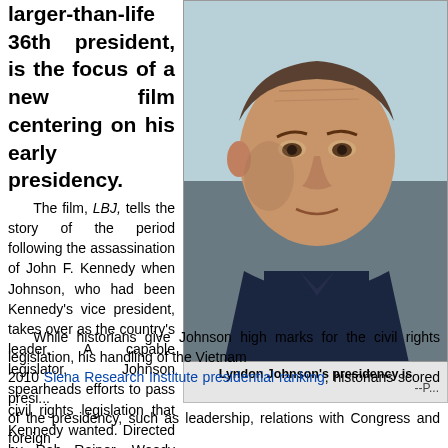larger-than-life 36th president, is the focus of a new film centering on his early presidency.
[Figure (photo): Color portrait photograph of Lyndon B. Johnson, the 36th US President, wearing a dark suit and tie, looking directly at camera with a serious expression, light blue/teal background.]
Lyndon Johnson's presidency is... --P...
The film, LBJ, tells the story of the period following the assassination of John F. Kennedy when Johnson, who had been Kennedy's vice president, takes over as the country's leader. A capable legislator, Johnson spearheads efforts to pass civil rights legislation that Kennedy wanted. Directed by Rob Reiner, Woody Harrelson stars in the title role (see trailer below).
While historians give Johnson high marks for the civil rights legislation, his handling of the Vietnam... 2010 Siena Research Institute presidential ranking, historians scored presi... of the presidency, such as leadership, relations with Congress and foreign...